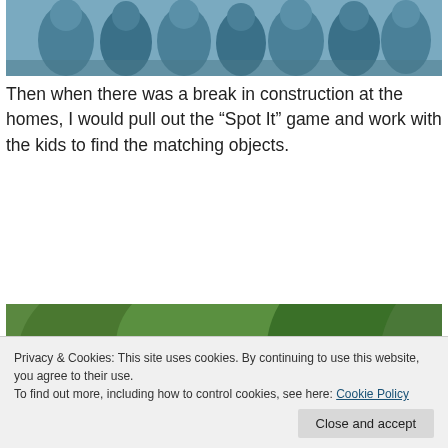[Figure (photo): Top portion of a photo showing people from behind, appearing to be in blue/teal clothing, cropped at top of page.]
Then when there was a break in construction at the homes, I would pull out the “Spot It” game and work with the kids to find the matching objects.
[Figure (photo): Outdoor photo showing a woman leaning down with two children, with green trees and a fence in the background.]
Privacy & Cookies: This site uses cookies. By continuing to use this website, you agree to their use.
To find out more, including how to control cookies, see here: Cookie Policy